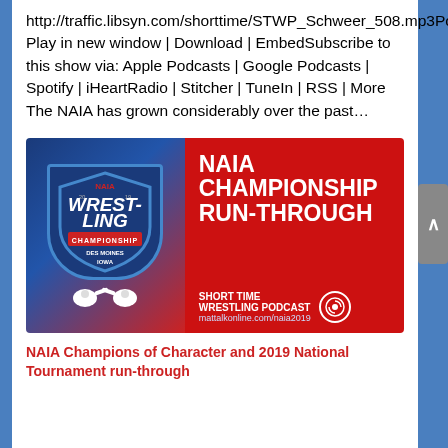http://traffic.libsyn.com/shorttime/STWP_Schweer_508.mp3Podcast: Play in new window | Download | EmbedSubscribe to this show via: Apple Podcasts | Google Podcasts | Spotify | iHeartRadio | Stitcher | TuneIn | RSS | More The NAIA has grown considerably over the past...
[Figure (illustration): NAIA Wrestling Championship Run-Through promotional image. Left side shows a shield logo with '2019 NAIA Wrestling Championship Des Moines Iowa' with earbuds. Right side on red background shows text 'NAIA CHAMPIONSHIP RUN-THROUGH' and 'SHORT TIME WRESTLING PODCAST mattalkonline.com/naia2019']
NAIA Champions of Character and 2019 National Tournament run-through